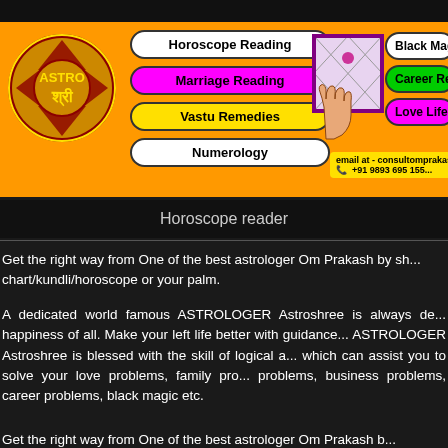[Figure (logo): Astroshree logo - circular mandala with ASTRO and Hindi text in orange background banner showing services: Horoscope Reading, Marriage Reading, Vastu Remedies, Numerology, Black Magic Solution, Career Reading, Love Life Reading, contact email and phone +91 9893 695 155]
Horoscope reader
Get the right way from One of the best astrologer Om Prakash by sharing your birth chart/kundli/horoscope or your palm.
A dedicated world famous ASTROLOGER Astroshree is always dedicated for the happiness of all. Make your left life better with guidance of Astroshree. ASTROLOGER Astroshree is blessed with the skill of logical astrology which can assist you to solve your love problems, family problems, health problems, business problems, career problems, black magic etc.
Get the right way from One of the best astrologer Om Prakash b...